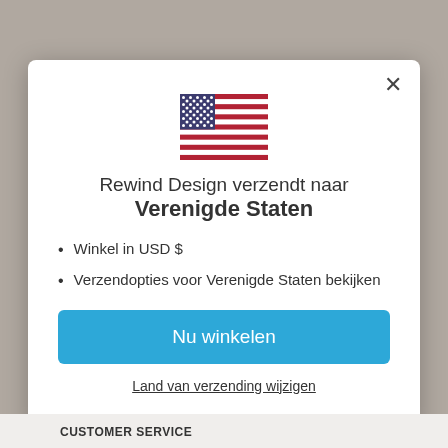[Figure (illustration): US flag emoji/illustration centered in modal]
Rewind Design verzendt naar
Verenigde Staten
Winkel in USD $
Verzendopties voor Verenigde Staten bekijken
Nu winkelen
Land van verzending wijzigen
CUSTOMER SERVICE